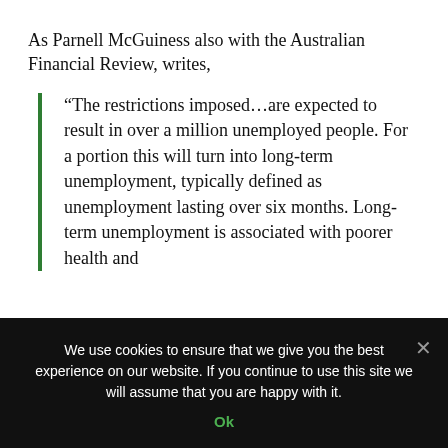As Parnell McGuiness also with the Australian Financial Review, writes,
“The restrictions imposed…are expected to result in over a million unemployed people. For a portion this will turn into long-term unemployment, typically defined as unemployment lasting over six months. Long-term unemployment is associated with poorer health and
We use cookies to ensure that we give you the best experience on our website. If you continue to use this site we will assume that you are happy with it.
Ok